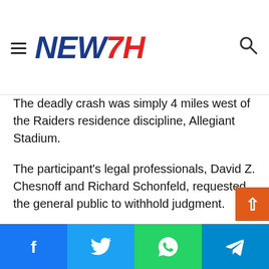NEW7H
The deadly crash was simply 4 miles west of the Raiders residence discipline, Allegiant Stadium.
The participant’s legal professionals, David Z. Chesnoff and Richard Schonfeld, requested the general public to withhold judgment.
“On behalf of our shopper Henry Ruggs III we’re conducting our personal investigation as of this writing and ask everybody to order judgment till all of the info are gathered,” the attorneys mentioned in a press release.
Ruggs, 22, is in his second yr out of Alabama. In 20 video